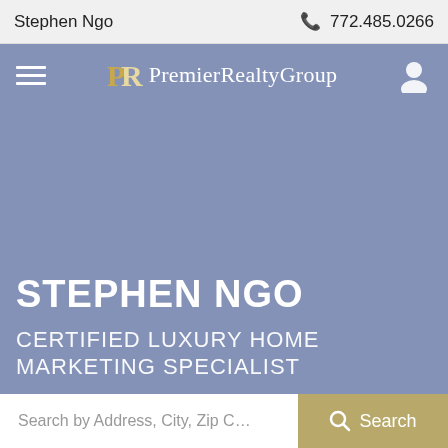Stephen Ngo   📞 772.485.0266
[Figure (logo): Premier Realty Group logo with hamburger menu icon on left and user icon on right in a blue navigation bar]
STEPHEN NGO
CERTIFIED LUXURY HOME MARKETING SPECIALIST
Search by Address, City, Zip C...   🔍 Search